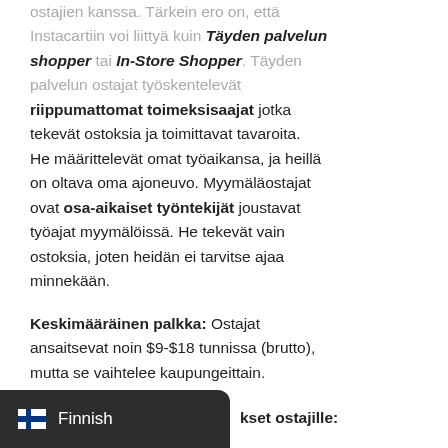ostajien kanssa. Tärkein ero on, että Instacartiin voi liittyä kuin Täyden palvelun shopper tai In-Store Shopper. Täyden palvelun ostajat työskentelevät riippumattomat toimeksisaajat jotka tekevät ostoksia ja toimittavat tavaroita. He määrittelevät omat työaikansa, ja heillä on oltava oma ajoneuvo. Myymäläostajat ovat osa-aikaiset työntekijät joustavat työajat myymälöissä. He tekevät vain ostoksia, joten heidän ei tarvitse ajaa minnekään.
Keskimääräinen palkka: Ostajat ansaitsevat noin $9-$18 tunnissa (brutto), mutta se vaihtelee kaupungeittain.
kset ostajille:
[Figure (other): Finnish language selector badge with Finnish flag icon and text 'Finnish' on dark background]